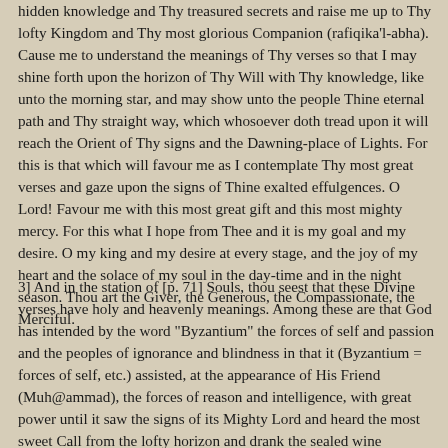hidden knowledge and Thy treasured secrets and raise me up to Thy lofty Kingdom and Thy most glorious Companion (rafiqika'l-abha). Cause me to understand the meanings of Thy verses so that I may shine forth upon the horizon of Thy Will with Thy knowledge, like unto the morning star, and may show unto the people Thine eternal path and Thy straight way, which whosoever doth tread upon it will reach the Orient of Thy signs and the Dawning-place of Lights. For this is that which will favour me as I contemplate Thy most great verses and gaze upon the signs of Thine exalted effulgences. O Lord! Favour me with this most great gift and this most mighty mercy. For this what I hope from Thee and it is my goal and my desire. O my king and my desire at every stage, and the joy of my heart and the solace of my soul in the day-time and in the night season. Thou art the Giver, the Generous, the Compassionate, the Merciful.
3] And in the station of [p. 71] Souls, thou seest that these Divine verses have holy and heavenly meanings. Among these are that God has intended by the word "Byzantium" the forces of self and passion and the peoples of ignorance and blindness in that it (Byzantium = forces of self, etc.) assisted, at the appearance of His Friend (Muh@ammad), the forces of reason and intelligence, with great power until it saw the signs of its Mighty Lord and heard the most sweet Call from the lofty horizon and drank the sealed wine